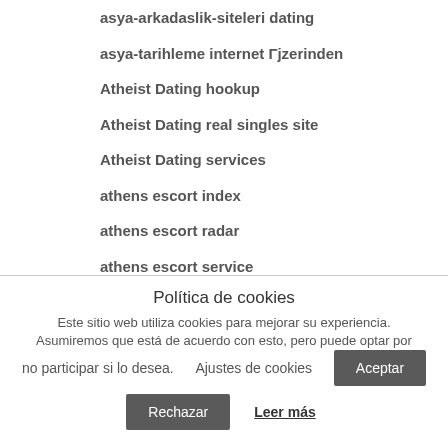asya-arkadaslik-siteleri dating
asya-tarihleme internet Γjzerinden
Atheist Dating hookup
Atheist Dating real singles site
Atheist Dating services
athens escort index
athens escort radar
athens escort service
Athens+GA+Georgia hookup
Política de cookies
Este sitio web utiliza cookies para mejorar su experiencia. Asumiremos que está de acuerdo con esto, pero puede optar por no participar si lo desea.
Ajustes de cookies
Aceptar
Rechazar
Leer más